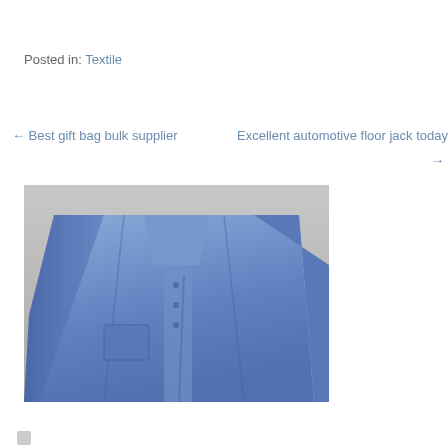Posted in: Textile
← Best gift bag bulk supplier
Excellent automotive floor jack today →
[Figure (photo): A blue medical/surgical gown or lab coat laid flat on a surface, photographed from above. The garment is blue in color with visible collar, buttons/snap closures, and front panels.]